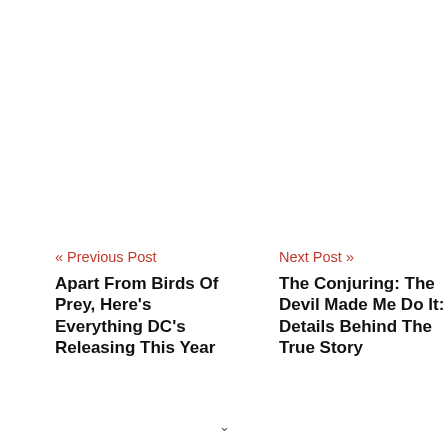« Previous Post
Apart From Birds Of Prey, Here's Everything DC's Releasing This Year
Next Post »
The Conjuring: The Devil Made Me Do It: Details Behind The True Story